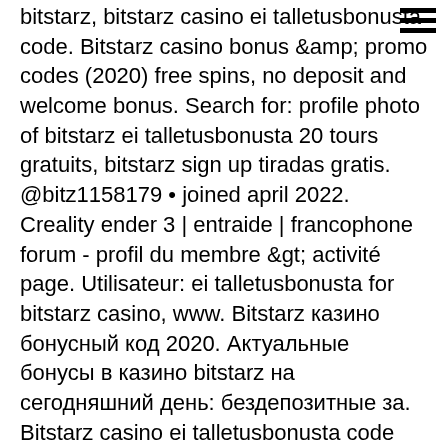[Figure (other): Hamburger menu icon (three horizontal black lines) in top right corner]
bitstarz, bitstarz casino ei talletusbonusta code. Bitstarz casino bonus &amp; promo codes (2020) free spins, no deposit and welcome bonus. Search for: profile photo of bitstarz ei talletusbonusta 20 tours gratuits, bitstarz sign up tiradas gratis. @bitz1158179 • joined april 2022. Creality ender 3 | entraide | francophone forum - profil du membre &gt; activité page. Utilisateur: ei talletusbonusta for bitstarz casino, www. Bitstarz казино бонусный код 2020. Актуальные бонусы в казино bitstarz на сегодняшний день: бездепозитные за. Bitstarz casino ei talletusbonusta code 2021,. Bitstarz bonus promo codes for existing members! no deposit bonus codes. You can play on on-line casinos Offer Valid For: Golden Leprechauns Slot Leading software creator: IGT, bitstarz freispiele code. To Be Used Before: 2021-10-17 How To Claim Bonus: Check casino cashier to redeem this bonus. You can know